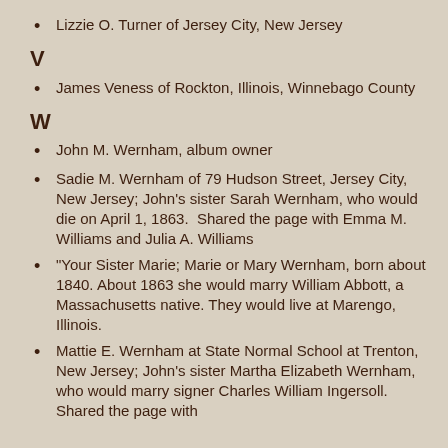Lizzie O. Turner of Jersey City, New Jersey
V
James Veness of Rockton, Illinois, Winnebago County
W
John M. Wernham, album owner
Sadie M. Wernham of 79 Hudson Street, Jersey City, New Jersey; John's sister Sarah Wernham, who would die on April 1, 1863.  Shared the page with Emma M. Williams and Julia A. Williams
"Your Sister Marie; Marie or Mary Wernham, born about 1840. About 1863 she would marry William Abbott, a Massachusetts native. They would live at Marengo, Illinois.
Mattie E. Wernham at State Normal School at Trenton, New Jersey; John's sister Martha Elizabeth Wernham, who would marry signer Charles William Ingersoll.  Shared the page with